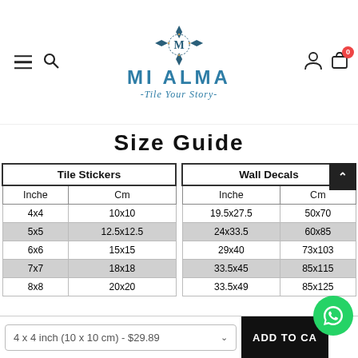[Figure (logo): Mi Alma logo with decorative emblem, title 'MI ALMA' and subtitle '-Tile Your Story-']
Size Guide
| Tile Stickers |  |
| --- | --- |
| Inche | Cm |
| 4x4 | 10x10 |
| 5x5 | 12.5x12.5 |
| 6x6 | 15x15 |
| 7x7 | 18x18 |
| 8x8 | 20x20 |
| Wall Decals |  |
| --- | --- |
| Inche | Cm |
| 19.5x27.5 | 50x70 |
| 24x33.5 | 60x85 |
| 29x40 | 73x103 |
| 33.5x45 | 85x115 |
| 33.5x49 | 85x125 |
4 x 4 inch (10 x 10 cm) - $29.89
ADD TO CA